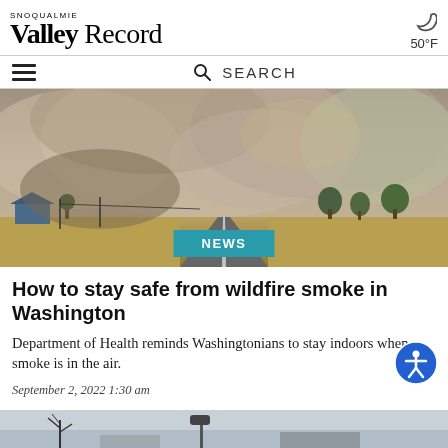SNOQUALMIE VALLEY RECORD | 50°F
SEARCH
[Figure (photo): Wildfire smoke billowing over a rural road in Washington state, with trees, farm buildings, and dry grassland on either side. A teal NEWS badge overlays the bottom center.]
How to stay safe from wildfire smoke in Washington
Department of Health reminds Washingtonians to stay indoors when smoke is in the air.
September 2, 2022 1:30 am
[Figure (photo): Partial view of a second photo at the bottom of the page showing a winter scene.]